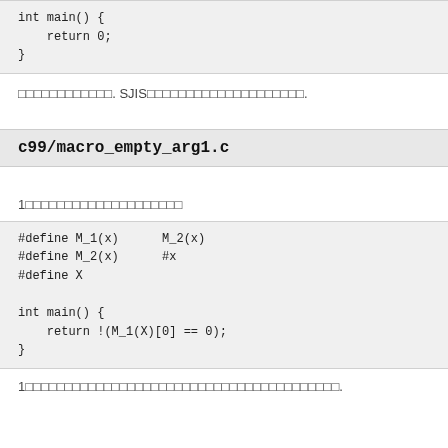int main() {
    return 0;
}
□□□□□□□□□□□□. SJIS□□□□□□□□□□□□□□□□□□□□.
c99/macro_empty_arg1.c
1□□□□□□□□□□□□□□□□□□□□
#define M_1(x)      M_2(x)
#define M_2(x)      #x
#define X

int main() {
    return !(M_1(X)[0] == 0);
}
1□□□□□□□□□□□□□□□□□□□□□□□□□□□□□□□□□□□□□□□□.